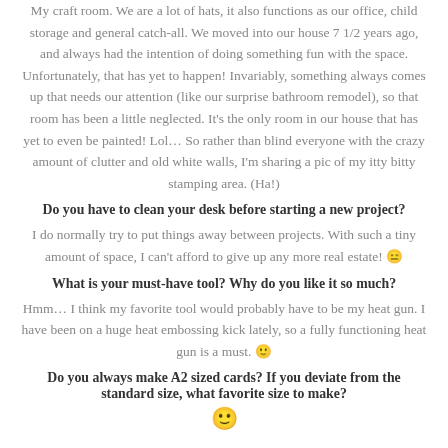My craft room. We are a lot of hats, it also functions as our office, child storage and general catch-all. We moved into our house 7 1/2 years ago, and always had the intention of doing something fun with the space. Unfortunately, that has yet to happen! Invariably, something always comes up that needs our attention (like our surprise bathroom remodel), so that room has been a little neglected. It's the only room in our house that has yet to even be painted! Lol… So rather than blind everyone with the crazy amount of clutter and old white walls, I'm sharing a pic of my itty bitty stamping area. (Ha!)
Do you have to clean your desk before starting a new project?
I do normally try to put things away between projects. With such a tiny amount of space, I can't afford to give up any more real estate! 😛
What is your must-have tool? Why do you like it so much?
Hmm… I think my favorite tool would probably have to be my heat gun. I have been on a huge heat embossing kick lately, so a fully functioning heat gun is a must. 🙂
Do you always make A2 sized cards? If you deviate from the standard size, what favorite size to make?